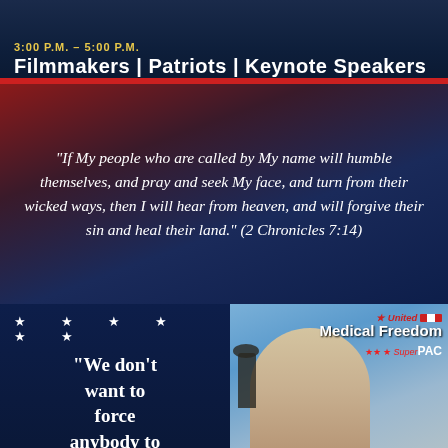Filmmakers | Patriots | Keynote Speakers
“If My people who are called by My name will humble themselves, and pray and seek My face, and turn from their wicked ways, then I will hear from heaven, and will forgive their sin and heal their land.” (2 Chronicles 7:14)
“We don’t want to force anybody to
[Figure (logo): United Medical Freedom Super PAC logo with red, white colors]